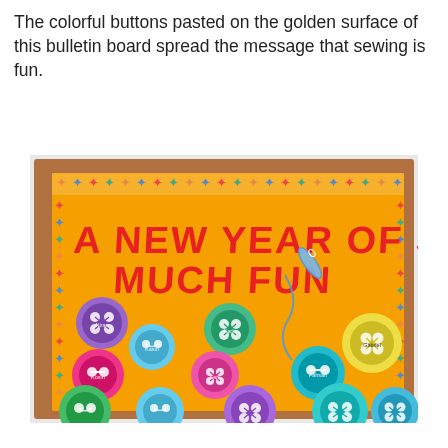The colorful buttons pasted on the golden surface of this bulletin board spread the message that sewing is fun.
[Figure (photo): A bulletin board with an orange/golden surface, framed in wood with a colorful star-patterned border. Large red block letters spell 'A NEW YEAR OF SEW MUCH FUN'. A blue needle-and-thread illustration is drawn in the upper right. Multiple colorful paper circles (resembling buttons in purple, teal, blue, green, pink, yellow) are arranged across the board, each with button-hole markings and student names written on them.]